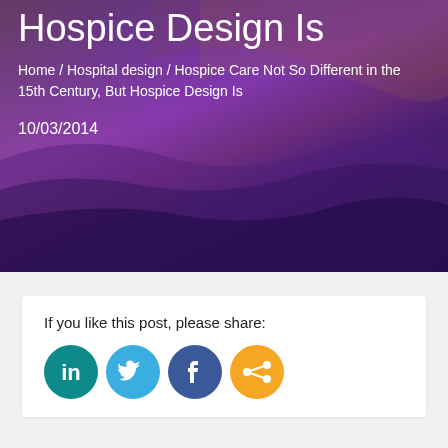Hospice Design Is
Home / Hospital design / Hospice Care Not So Different in the 15th Century, But Hospice Design Is
10/03/2014
If you like this post, please share:
[Figure (infographic): Social sharing icons: LinkedIn (teal), Twitter (light blue), Facebook (dark blue), Share (orange)]